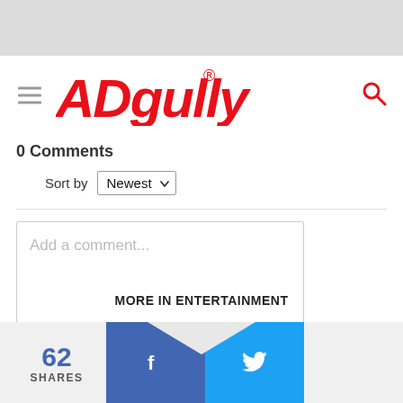[Figure (logo): Adgully logo in red italic stylized font with registered trademark symbol]
0 Comments
Sort by Newest
Add a comment...
Facebook Comments Plugin
MORE IN ENTERTAINMENT
62 SHARES